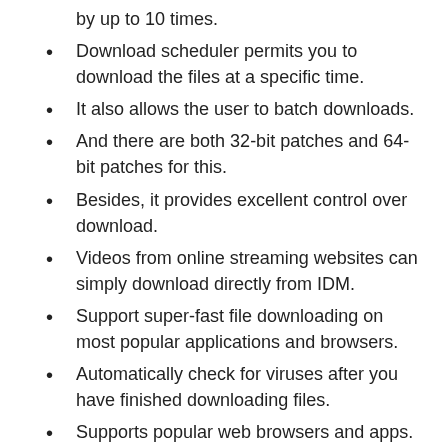by up to 10 times.
Download scheduler permits you to download the files at a specific time.
It also allows the user to batch downloads.
And there are both 32-bit patches and 64-bit patches for this.
Besides, it provides excellent control over download.
Videos from online streaming websites can simply download directly from IDM.
Support super-fast file downloading on most popular applications and browsers.
Automatically check for viruses after you have finished downloading files.
Supports popular web browsers and apps.
What's New?